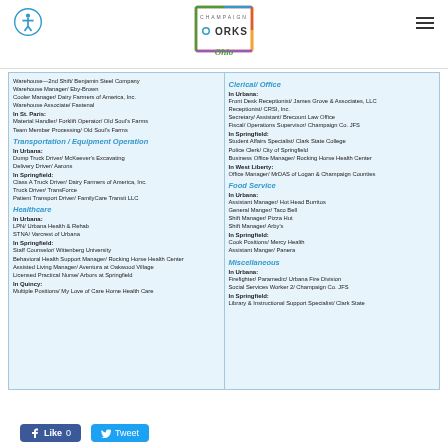Champaign Works Ohio
Transportation / Equipment Operation
In Urbana:
Dump Truck Driver/ McKeever's Excavating
Delivery Driver/ Aarons
In Springfield:
Class A Truck Driver/ Dairy Farmers of America, Inc.
Truck Driver/ TransForce
Patient Transport Driver/ FamilyCare Transit LLC
Healthcare
In Urbana:
LPN/ Urbana Health & Rehab
STNA/ Varcrest of Urbana
In Springfield:
Staff Counselor/ Wittenberg University
Behavioral Health Support Manager/ Rocking Horse Health Center
Assisted Living Manager/ Aventura at Oakwood Village
Licensed Practical Nurse/ Arbors at Springfield
In Quincy:
Multiple Positions/ My Love of Care Home Health Care
Clerical/ Office
In Urbana:
Front Desk Receptionist/ James Grove & Associates, LLC
Receptionist/ CRSI, Inc.
Secretary/ Assistant/ Brecount Law Office
Fiscal/ Operations Supervisor/ Champaign Co. JFS
In Springfield:
Student Affairs Specialist/ Clark State College
Police Clerk/ City of Springfield
Business Office Manager/ Rocking Horse Health Center
In West Liberty:
Office Manager/ MrDAS of Logan & Champaign Counties
Food Service
In Urbana:
Assistant Manager/ Hot Head Burritos
General Manger/ Taco Bell
Shift Manager/ Pizza Hut
Shift Manager/ Arby's
In Springfield:
Cook Positions/ Mercy Health
Assistant Manger/ Panera
Miscellaneous
In Urbana:
Firefighter/ Paramedic/ Urbana Fire Division
Social Services Worker 2/ Champaign Co. JFS
In Springfield:
Library & Instructional Support Specialist/ Clark State